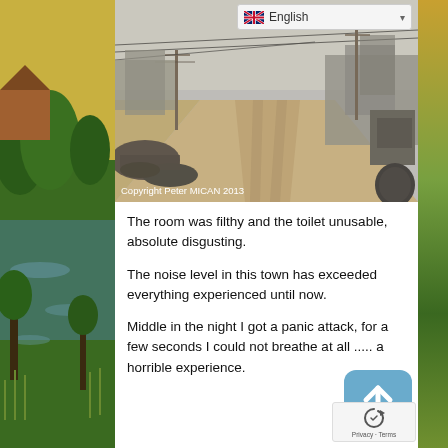[Figure (photo): Street scene photo of a dusty road in a South Asian town with utility poles, buildings on both sides, and debris on the left roadside. Overcast/hazy sky. Copyright watermark reads 'Copyright Peter MICAN 2013'.]
The room was filthy and the toilet unusable, absolute disgusting.
The noise level in this town has exceeded everything experienced until now.
Middle in the night I got a panic attack, for a few seconds I could not breathe at all ..... a horrible experience.